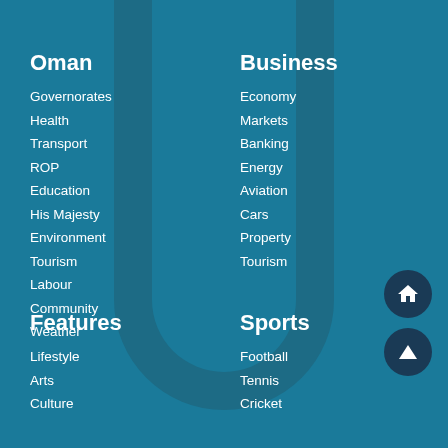Oman
Governorates
Health
Transport
ROP
Education
His Majesty
Environment
Tourism
Labour
Community
Weather
Business
Economy
Markets
Banking
Energy
Aviation
Cars
Property
Tourism
Features
Lifestyle
Arts
Culture
Sports
Football
Tennis
Cricket